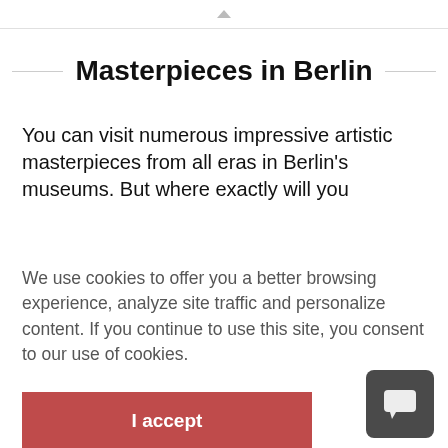Masterpieces in Berlin
You can visit numerous impressive artistic masterpieces from all eras in Berlin's museums. But where exactly will you
We use cookies to offer you a better browsing experience, analyze site traffic and personalize content. If you continue to use this site, you consent to our use of cookies.
I accept